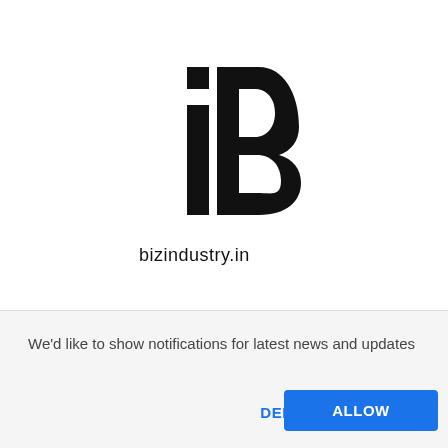[Figure (logo): bizindustry.in logo: stylized letter B in black with a small square dot, resembling a bold B with cutouts, above the text 'bizindustry.in']
We'd like to show notifications for latest news and updates
DENY
ALLOW